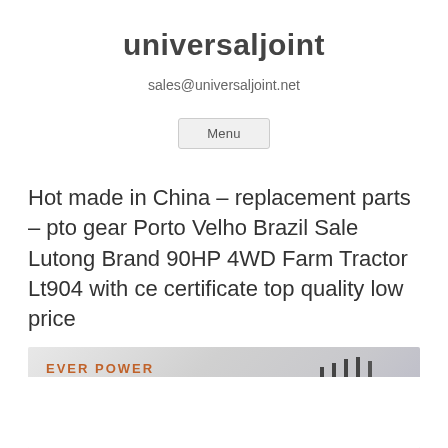universaljoint
sales@universaljoint.net
Menu
Hot made in China – replacement parts – pto gear Porto Velho Brazil Sale Lutong Brand 90HP 4WD Farm Tractor Lt904 with ce certificate top quality low price
[Figure (photo): Partial screenshot of a product page showing 'EVER POWER' branding text and small icon elements at the top, with a white area below]